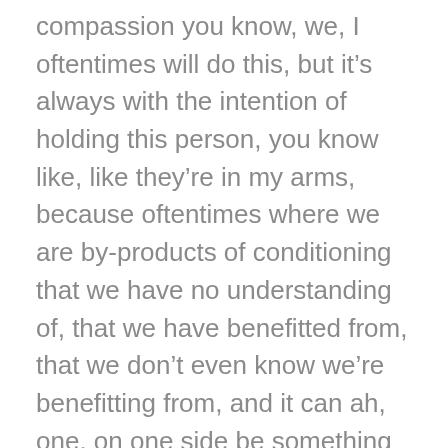compassion you know, we, I oftentimes will do this, but it's always with the intention of holding this person, you know like, like they're in my arms, because oftentimes where we are by-products of conditioning that we have no understanding of, that we have benefitted from, that we don't even know we're benefitting from, and it can ah, one, on one side be something in which we educate, and it can also be something that we really inspire in others as well. So oftentimes when I've had this conversation, oftentimes people, you know we call them 'dominant culture', Michelle Cassandra refers to a dominant culture, they feel quite triggered, because you know, it's like, it's like you saying 'oh but I've always lived